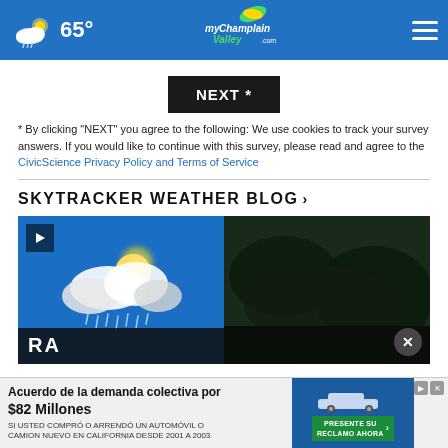65° myChamplainValley.com
NEXT *
* By clicking "NEXT" you agree to the following: We use cookies to track your survey answers. If you would like to continue with this survey, please read and agree to the CivicScience Privacy Policy and Terms of Service
SKYTRACKER WEATHER BLOG ›
[Figure (screenshot): Two side-by-side video thumbnails: left shows animated weather clouds/sun/rain on blue background with play button; right shows dark nighttime outdoor scene. Close (X) button overlaid. Partial text 'RA' visible at bottom left.]
Acuerdo de la demanda colectiva por $82 Millones SI USTED COMPRÓ O ARRENDÓ UN AUTOMÓVIL O CAMION NUEVO EN CALIFORNIA DESDE 2001 A 2003